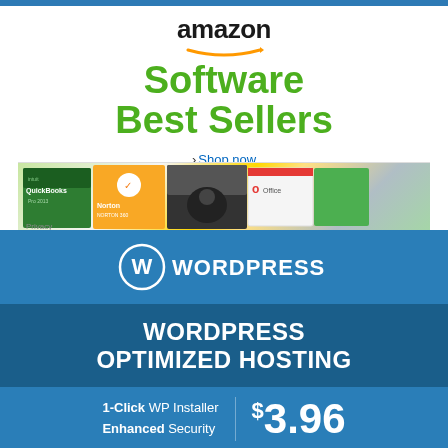[Figure (logo): Amazon logo with orange arrow beneath text]
Software Best Sellers
› Shop now
[Figure (illustration): Software product boxes including QuickBooks Pro, Norton, Adobe, and Microsoft Office]
Privacy
[Figure (logo): WordPress logo - W in circle with WORDPRESS text]
WORDPRESS OPTIMIZED HOSTING
1-Click WP Installer Enhanced Security
$3.96